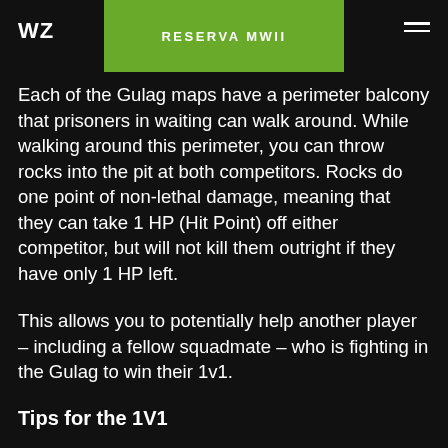WZ | RESERVA MWII
Each of the Gulag maps have a perimeter balcony that prisoners in waiting can walk around. While walking around this perimeter, you can throw rocks into the pit at both competitors. Rocks do one point of non-lethal damage, meaning that they can take 1 HP (Hit Point) off either competitor, but will not kill them outright if they have only 1 HP left.
This allows you to potentially help another player – including a fellow squadmate – who is fighting in the Gulag to win their 1v1.
Tips for the 1V1
First and foremost, if you like the way this Gulag 1v1 fight is set up, then you're likely to love Gunfight in the full Modern Warfare experience. The Gunfight Game Mode can be an excellent way to train up for the Gulag, getting